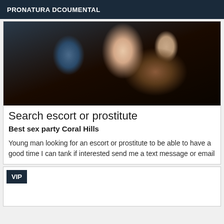PRONATURA DCOUMENTAL
[Figure (photo): Close-up photo of a person's face tilted sideways, taken in low light. The person is lying down or at an angle, showing their lips, ear, and eye. They appear to be wearing a dark blue top.]
Search escort or prostitute
Best sex party Coral Hills
Young man looking for an escort or prostitute to be able to have a good time I can tank if interested send me a text message or email
VIP